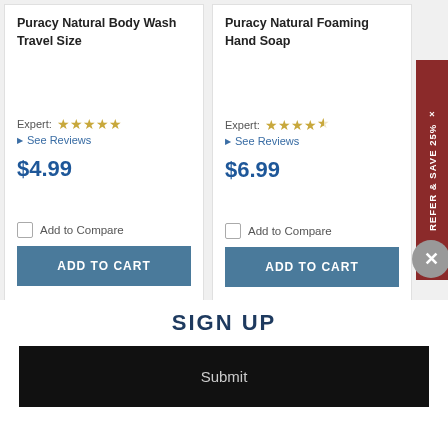Puracy Natural Body Wash Travel Size
Expert: ★★★★★ See Reviews
$4.99
Add to Compare
ADD TO CART
Puracy Natural Foaming Hand Soap
Expert: ★★★★½ See Reviews
$6.99
Add to Compare
ADD TO CART
REFER & SAVE 25% ×
SIGN UP
Submit